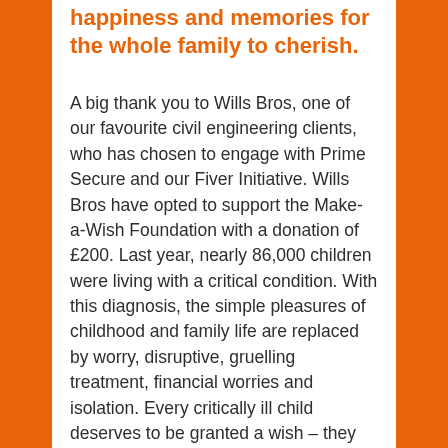happiness and memories for the whole family to cherish.
A big thank you to Wills Bros, one of our favourite civil engineering clients, who has chosen to engage with Prime Secure and our Fiver Initiative. Wills Bros have opted to support the Make-a-Wish Foundation with a donation of £200. Last year, nearly 86,000 children were living with a critical condition. With this diagnosis, the simple pleasures of childhood and family life are replaced by worry, disruptive, gruelling treatment, financial worries and isolation. Every critically ill child deserves to be granted a wish – they aim to reach every child. Every one of them has a wish that is unique to them. The Make-a-Wish Foundation wantS to grant it for them.